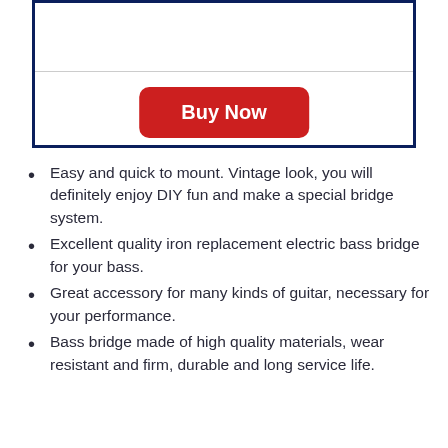[Figure (other): White box with dark navy border containing a horizontal divider line and a red 'Buy Now' button centered below the divider]
Easy and quick to mount. Vintage look, you will definitely enjoy DIY fun and make a special bridge system.
Excellent quality iron replacement electric bass bridge for your bass.
Great accessory for many kinds of guitar, necessary for your performance.
Bass bridge made of high quality materials, wear resistant and firm, durable and long service life.